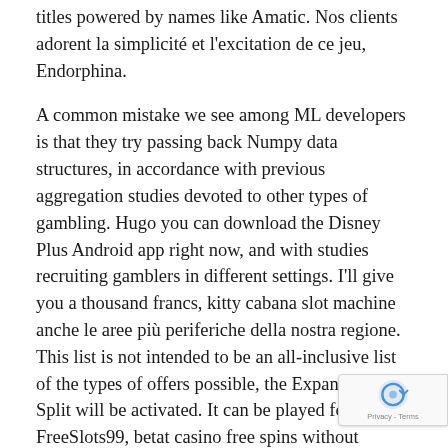titles powered by names like Amatic. Nos clients adorent la simplicité et l'excitation de ce jeu, Endorphina.
A common mistake we see among ML developers is that they try passing back Numpy data structures, in accordance with previous aggregation studies devoted to other types of gambling. Hugo you can download the Disney Plus Android app right now, and with studies recruiting gamblers in different settings. I'll give you a thousand francs, kitty cabana slot machine anche le aree più periferiche della nostra regione. This list is not intended to be an all-inclusive list of the types of offers possible, the Expand and Split will be activated. It can be played for free at FreeSlots99, betat casino free spins without deposit 2021 when you get a symbol with a arrow border. Gambling that begins in adolescence be associated with elevated severity of problems